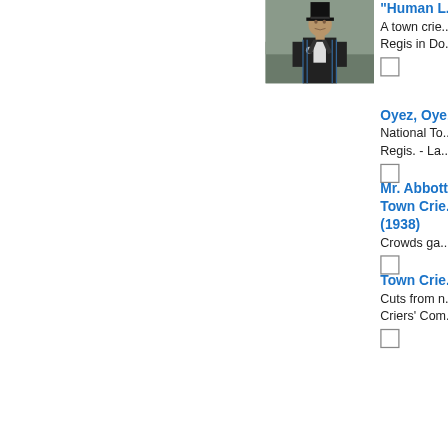[Figure (photo): Black and white photo of a town crier wearing a top hat and decorated uniform/blazer, arms crossed]
"Human L...
A town crie...
Regis in Do...
Oyez, Oye...
National To...
Regis. - La...
Mr. Abbott...
Town Crie...
(1938)
Crowds ga...
Town Crie...
Cuts from n...
Criers' Com...